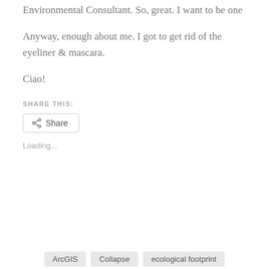Environmental Consultant. So, great. I want to be one
Anyway, enough about me. I got to get rid of the eyeliner & mascara.
Ciao!
SHARE THIS:
[Figure (other): Share button with share icon]
Loading...
ArcGIS   Collapse   ecological footprint